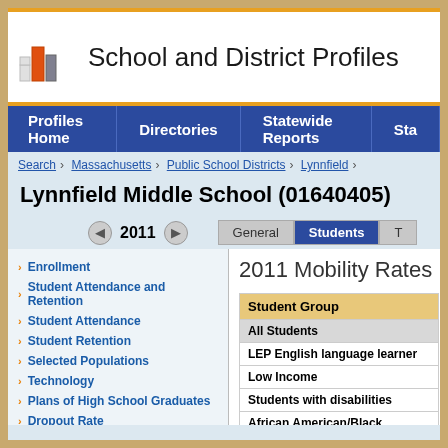[Figure (logo): School and District Profiles bar chart logo]
School and District Profiles
Profiles Home   Directories   Statewide Reports   Sta
Search > Massachusetts > Public School Districts > Lynnfield >
Lynnfield Middle School (01640405)
2011
Enrollment
Student Attendance and Retention
Student Attendance
Student Retention
Selected Populations
Technology
Plans of High School Graduates
Dropout Rate
Graduation Rate
Mobility Rate
MassCore Completion
Attrition Rates
Class Size by Gender and Selected
2011 Mobility Rates
| Student Group |
| --- |
| All Students |
| LEP English language learner |
| Low Income |
| Students with disabilities |
| African American/Black |
| American Indian or Alaskan Nat |
| Asian |
| Hispanic or Latino |